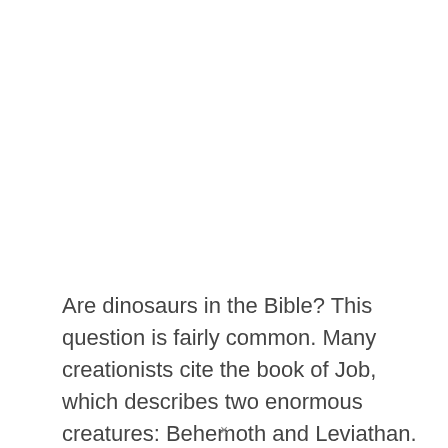Are dinosaurs in the Bible? This question is fairly common. Many creationists cite the book of Job, which describes two enormous creatures: Behemoth and Leviathan. Are
×